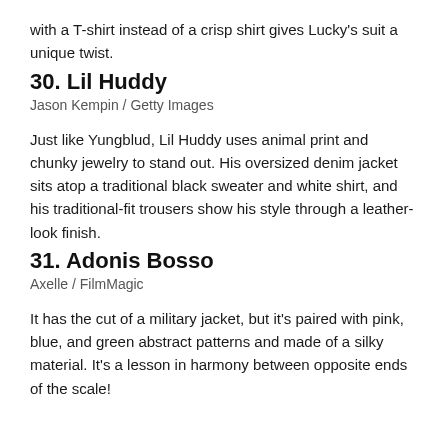with a T-shirt instead of a crisp shirt gives Lucky's suit a unique twist.
30. Lil Huddy
Jason Kempin / Getty Images
Just like Yungblud, Lil Huddy uses animal print and chunky jewelry to stand out. His oversized denim jacket sits atop a traditional black sweater and white shirt, and his traditional-fit trousers show his style through a leather-look finish.
31. Adonis Bosso
Axelle / FilmMagic
It has the cut of a military jacket, but it's paired with pink, blue, and green abstract patterns and made of a silky material. It's a lesson in harmony between opposite ends of the scale!